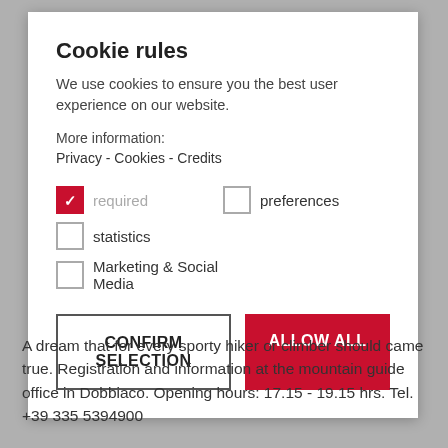Cookie rules
We use cookies to ensure you the best user experience on our website.
More information:
Privacy - Cookies - Credits
required (checked), preferences (unchecked), statistics (unchecked), Marketing & Social Media (unchecked)
CONFIRM SELECTION | ALLOW ALL
A dream that for every sporty hiker or climber should came true. Registration and information at the mountain guide office in Dobbiaco. Opening hours: 17.15 - 19.15 hrs. Tel. +39 335 5394900